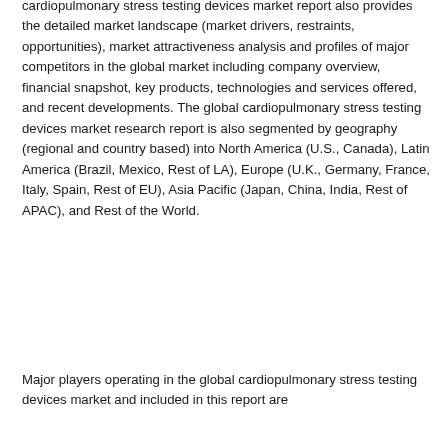cardiopulmonary stress testing devices market report also provides the detailed market landscape (market drivers, restraints, opportunities), market attractiveness analysis and profiles of major competitors in the global market including company overview, financial snapshot, key products, technologies and services offered, and recent developments. The global cardiopulmonary stress testing devices market research report is also segmented by geography (regional and country based) into North America (U.S., Canada), Latin America (Brazil, Mexico, Rest of LA), Europe (U.K., Germany, France, Italy, Spain, Rest of EU), Asia Pacific (Japan, China, India, Rest of APAC), and Rest of the World.
Major players operating in the global cardiopulmonary stress testing devices market and included in this report are